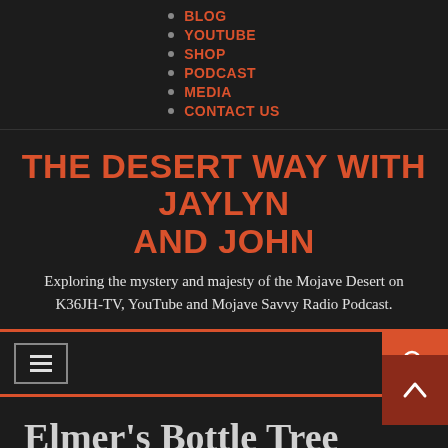BLOG
YOUTUBE
SHOP
PODCAST
MEDIA
CONTACT US
THE DESERT WAY WITH JAYLYN AND JOHN
Exploring the mystery and majesty of the Mojave Desert on K36JH-TV, YouTube and Mojave Savvy Radio Podcast.
[Figure (screenshot): Navigation toolbar with hamburger menu icon on left and red search button on right]
Elmer's Bottle Tree Ranch: Kaleidoscope On Route 66